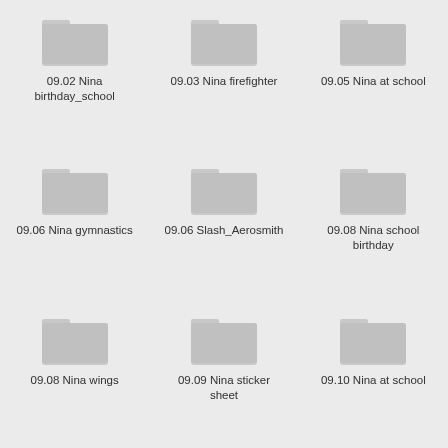[Figure (screenshot): File manager grid view showing 9 folders with folder icons and text labels]
09.02 Nina birthday_school
09.03 Nina firefighter
09.05 Nina at school
09.06 Nina gymnastics
09.06 Slash_Aerosmith
09.08 Nina school birthday
09.08 Nina wings
09.09 Nina sticker sheet
09.10 Nina at school